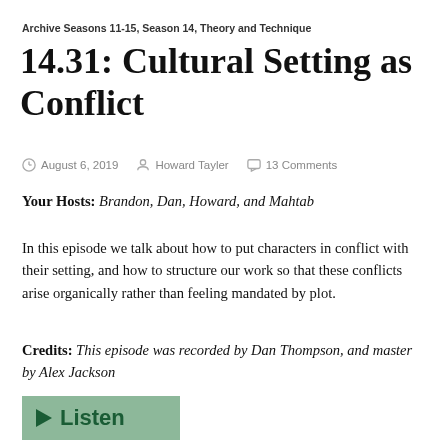Archive Seasons 11-15, Season 14, Theory and Technique
14.31: Cultural Setting as Conflict
August 6, 2019  Howard Tayler  13 Comments
Your Hosts: Brandon, Dan, Howard, and Mahtab
In this episode we talk about how to put characters in conflict with their setting, and how to structure our work so that these conflicts arise organically rather than feeling mandated by plot.
Credits: This episode was recorded by Dan Thompson, and master by Alex Jackson
[Figure (other): Green listen button with play triangle icon and 'Listen' text]